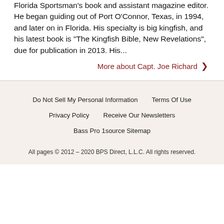Florida Sportsman's book and assistant magazine editor. He began guiding out of Port O'Connor, Texas, in 1994, and later on in Florida. His specialty is big kingfish, and his latest book is "The Kingfish Bible, New Revelations", due for publication in 2013. His...
More about Capt. Joe Richard ›
Do Not Sell My Personal Information   Terms Of Use   Privacy Policy   Receive Our Newsletters   Bass Pro 1source Sitemap   All pages © 2012 – 2020 BPS Direct, L.L.C. All rights reserved.